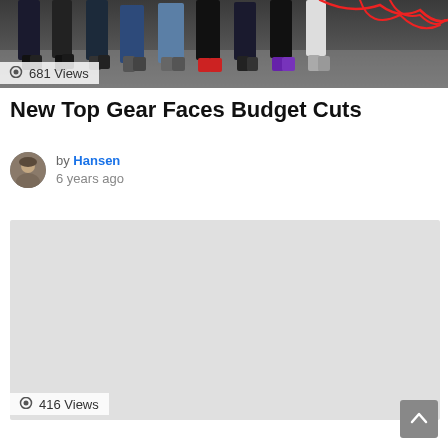[Figure (photo): Photo of people's legs and feet standing side by side against a white background, with a red rope or string visible in the upper right area]
681 Views
New Top Gear Faces Budget Cuts
by Hansen
6 years ago
[Figure (photo): Light gray placeholder image rectangle]
416 Views